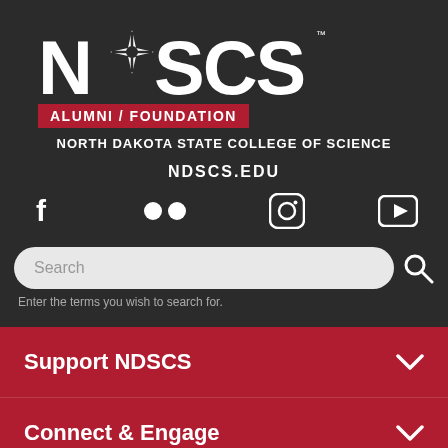[Figure (logo): NDSCS Alumni/Foundation logo with compass star icon, white letters on dark background, red Alumni/Foundation bar]
NORTH DAKOTA STATE COLLEGE OF SCIENCE
NDSCS.EDU
[Figure (infographic): Social media icons: Facebook, two dots (Flickr), Instagram, YouTube]
Search
Enter the terms you wish to search for.
Support NDSCS
Connect & Engage